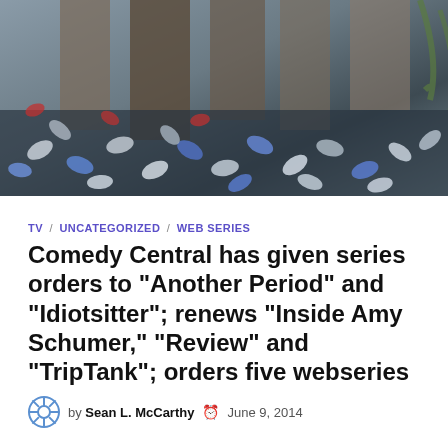[Figure (photo): Photo showing scattered beer cans on a floor/ground, with people's clothing visible in the background]
TV / UNCATEGORIZED / WEB SERIES
Comedy Central has given series orders to “Another Period” and “Idiotsitter”; renews “Inside Amy Schumer,” “Review” and “TripTank”; orders five webseries
by Sean L. McCarthy   June 9, 2014
Happy Mondays all around to several comedians thanks to this news from Comedy Central: The network has ordered two new series — Another Period and Idiotsitter— …